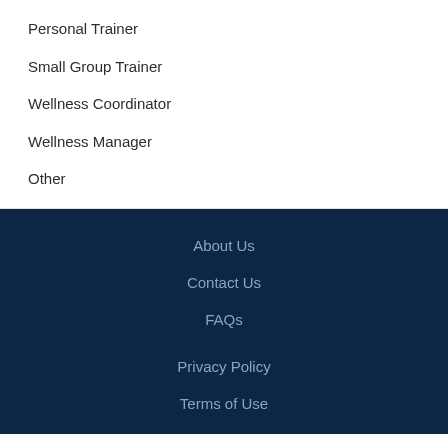Personal Trainer
Small Group Trainer
Wellness Coordinator
Wellness Manager
Other
About Us
Contact Us
FAQs
Privacy Policy
Terms of Use